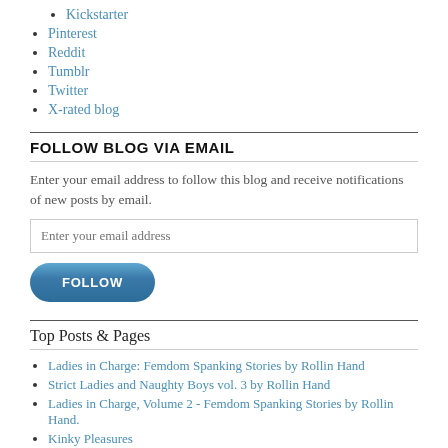Kickstarter
Pinterest
Reddit
Tumblr
Twitter
X-rated blog
FOLLOW BLOG VIA EMAIL
Enter your email address to follow this blog and receive notifications of new posts by email.
Top Posts & Pages
Ladies in Charge: Femdom Spanking Stories by Rollin Hand
Strict Ladies and Naughty Boys vol. 3 by Rollin Hand
Ladies in Charge, Volume 2 - Femdom Spanking Stories by Rollin Hand.
Kinky Pleasures
Lisa Comshaw aka Fauna aka TonyTori Sinclair - R.I.P.